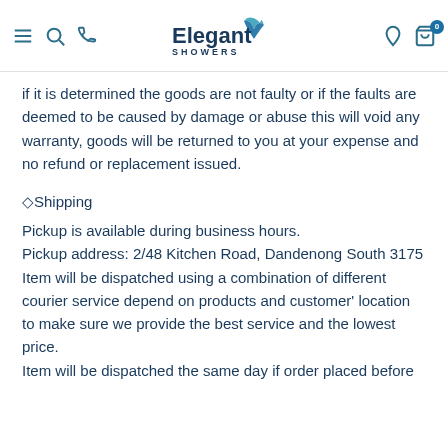Elegant Showers
if it is determined the goods are not faulty or if the faults are deemed to be caused by damage or abuse this will void any warranty, goods will be returned to you at your expense and no refund or replacement issued.
◇Shipping
Pickup is available during business hours.
Pickup address: 2/48 Kitchen Road, Dandenong South 3175
Item will be dispatched using a combination of different courier service depend on products and customer' location to make sure we provide the best service and the lowest price.
Item will be dispatched the same day if order placed before